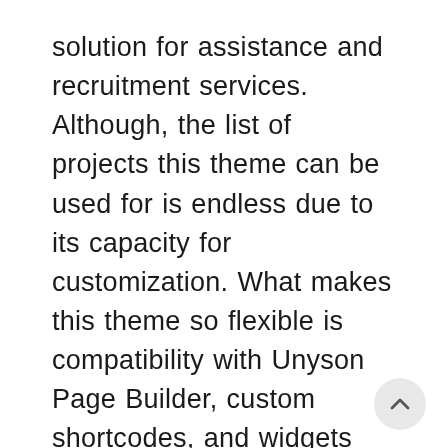solution for assistance and recruitment services. Although, the list of projects this theme can be used for is endless due to its capacity for customization. What makes this theme so flexible is compatibility with Unyson Page Builder, custom shortcodes, and widgets that provide a user with a space for creativity. This theme comes with 4 premade skins designed for an entrepreneur, lawyer, psychologist, and human consult. Each page comes with prepared sections which you can use to enrich the default look of ready-made skins.
This theme would work for a website of any orientation. WooCommerce allows selling products and services online using one of 6